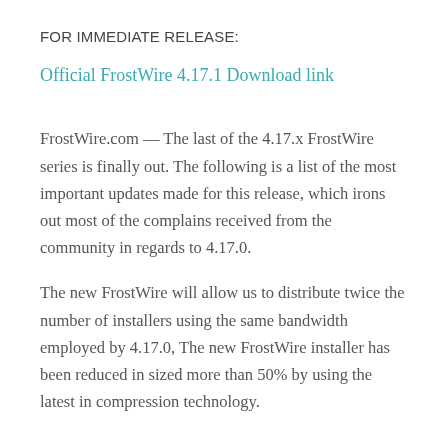FOR IMMEDIATE RELEASE:
Official FrostWire 4.17.1 Download link
FrostWire.com — The last of the 4.17.x FrostWire series is finally out. The following is a list of the most important updates made for this release, which irons out most of the complains received from the community in regards to 4.17.0.
The new FrostWire will allow us to distribute twice the number of installers using the same bandwidth employed by 4.17.0, The new FrostWire installer has been reduced in sized more than 50% by using the latest in compression technology.